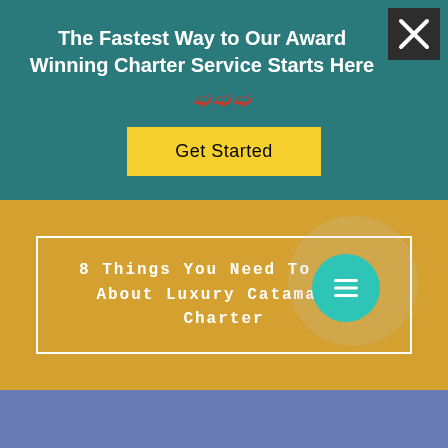The Fastest Way to Our Award Winning Charter Service Starts Here
[Figure (other): Yellow 'Get Started' call-to-action button on teal background]
8 Things You Need To Know About Luxury Catamaran Charter
[Figure (other): Teal circle icon with menu/list lines symbol, set on golden-yellow background with light decorative circle element]